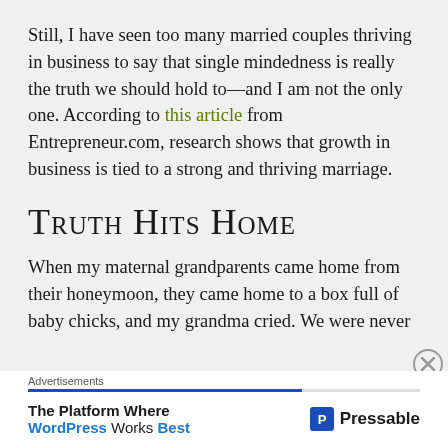Still, I have seen too many married couples thriving in business to say that single mindedness is really the truth we should hold to—and I am not the only one. According to this article from Entrepreneur.com, research shows that growth in business is tied to a strong and thriving marriage.
Truth Hits Home
When my maternal grandparents came home from their honeymoon, they came home to a box full of baby chicks, and my grandma cried. We were never
[Figure (other): Advertisement banner: 'The Platform Where WordPress Works Best' by Pressable with blue border and close button]